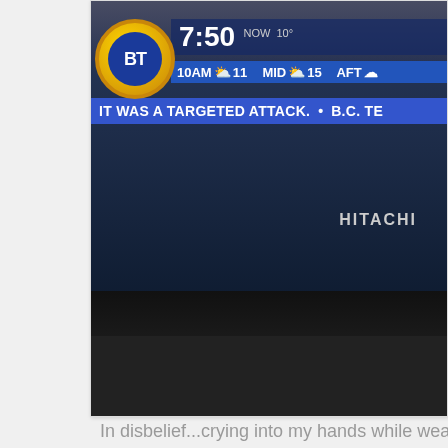[Figure (photo): A Hitachi television displaying the BT (Breakfast Television) news channel. The screen shows a weather ticker with time 7:50, NOW 10°, 10AM 11, MID 15, AFT [cut off], and a news ticker reading 'IT WAS A TARGETED ATTACK. • B.C. TE[cut off]'. The BT logo (blue circle with gold border) is visible on the left of the screen.]
In disbelief...crying into my hands while wearing my M[cut off]
[Figure (photo): A person with blonde hair pulled back, wearing a black hat or headpiece with ear-like protrusions on top, photographed from behind/side. A teal element is visible on the right edge of the frame.]